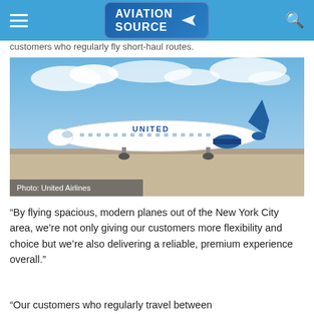Aviation Source
customers who regularly fly short-haul routes.
[Figure (photo): A United Airlines regional jet (CRJ series) on a tarmac under a partly cloudy blue sky. Caption overlay reads: Photo: United Airlines]
Photo: United Airlines
“By flying spacious, modern planes out of the New York City area, we’re not only giving our customers more flexibility and choice but we’re also delivering a reliable, premium experience overall.”
“Our customers who regularly travel between